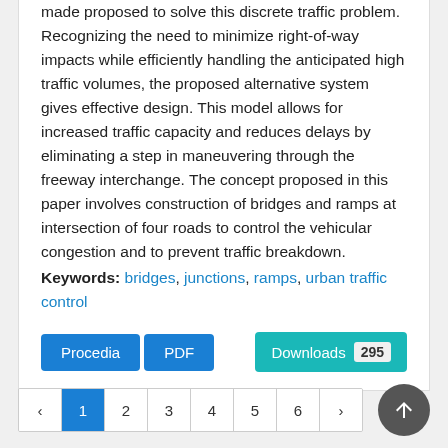made proposed to solve this discrete traffic problem. Recognizing the need to minimize right-of-way impacts while efficiently handling the anticipated high traffic volumes, the proposed alternative system gives effective design. This model allows for increased traffic capacity and reduces delays by eliminating a step in maneuvering through the freeway interchange. The concept proposed in this paper involves construction of bridges and ramps at intersection of four roads to control the vehicular congestion and to prevent traffic breakdown.
Keywords: bridges, junctions, ramps, urban traffic control
Procedia | PDF | Downloads 295